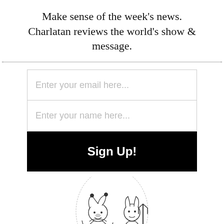Make sense of the week's news. Charlatan reviews the world's show & message.
[Figure (illustration): Black and white vintage illustration showing a jester/clown figure and a devil figure with a trident, in an old engraving style]